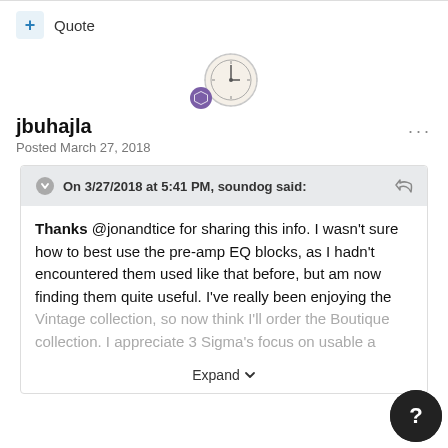+ Quote
[Figure (illustration): User avatar showing a clock/compass circular image with a purple hexagon badge overlay]
jbuhajla
Posted March 27, 2018
On 3/27/2018 at 5:41 PM, soundog said:
Thanks @jonandtice for sharing this info. I wasn't sure how to best use the pre-amp EQ blocks, as I hadn't encountered them used like that before, but am now finding them quite useful. I've really been enjoying the Vintage collection, so now think I'll order the Boutique collection. I appreciate 3 Sigma's focus on usable a
Expand